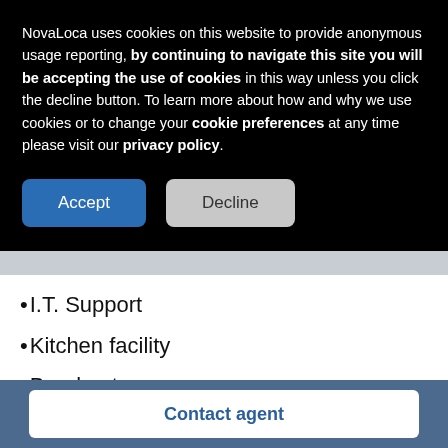NovaLoca uses cookies on this website to provide anonymous usage reporting, by continuing to navigate this site you will be accepting the use of cookies in this way unless you click the decline button. To learn more about how and why we use cookies or to change your cookie preferences at any time please visit our privacy policy.
I.T. Support
Kitchen facility
Breakout space
Meeting rooms
Furnished
Onsite manager
Print/Scan/Copy
Contact agent